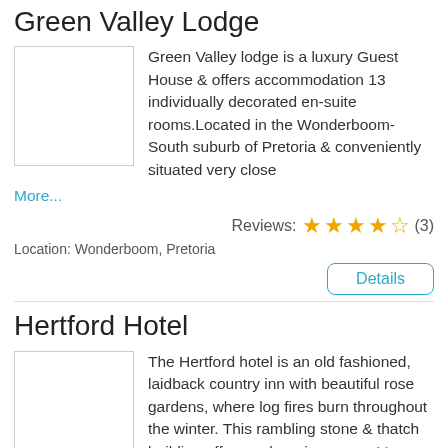Green Valley Lodge
Green Valley lodge is a luxury Guest House & offers accommodation 13 individually decorated en-suite rooms.Located in the Wonderboom-South suburb of Pretoria & conveniently situated very close
More...
Reviews: ★★★★☆ (3)
Location: Wonderboom, Pretoria
Details
Hertford Hotel
The Hertford hotel is an old fashioned, laidback country inn with beautiful rose gardens, where log fires burn throughout the winter. This rambling stone & thatch building offers a charming venue More...